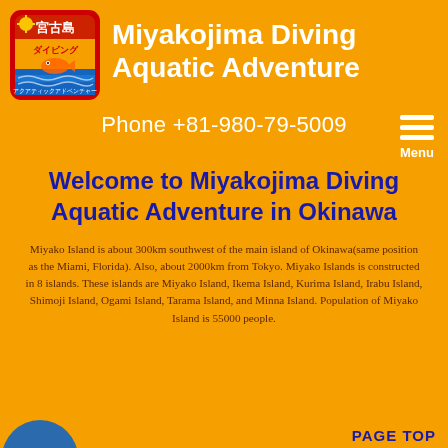[Figure (logo): Miyakojima Diving Aquatic Adventure logo — square with rounded corners, red/orange top band with Japanese text '宮古島', yellow/blue lower section with 'ダイビング' text and fish illustration]
Miyakojima Diving Aquatic Adventure
Phone +81-980-79-5009
Menu
Welcome to Miyakojima Diving Aquatic Adventure in Okinawa
Miyako Island is about 300km southwest of the main island of Okinawa(same position as the Miami, Florida). Also, about 2000km from Tokyo. Miyako Islands is constructed in 8 islands. These islands are Miyako Island, Ikema Island, Kurima Island, Irabu Island, Shimoji Island, Ogami Island, Tarama Island, and Minna Island. Population of Miyako Island is 55000 people.
PAGE TOP